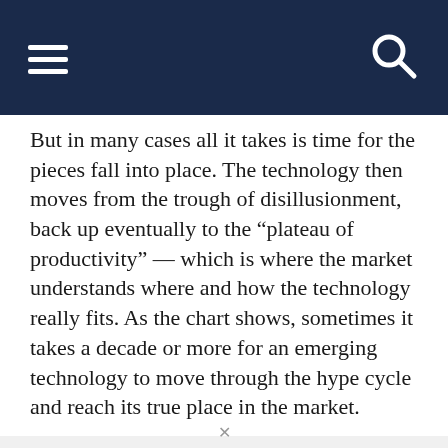But in many cases all it takes is time for the pieces fall into place.  The technology then moves from the trough of disillusionment, back up eventually to the “plateau of productivity” — which is where the market understands where and how the technology really fits.  As the chart shows, sometimes it takes a decade or more for an emerging technology to move through the hype cycle and reach its true place in the market.
[Figure (other): Advertisement banner for Japan travel featuring 'Japan' logo text on scenic background with mountain and pagoda imagery, center text reading 'DISCOVER AMAZING TRAVEL SIDESTAGE.COM']